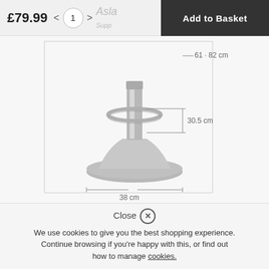£79.99
1
Add to Basket
[Figure (photo): Bar stool base component in brushed silver/chrome metal with round base, central pillar, and footrest ring. Dimension labels show: 61-82 cm (height range), 30.5 cm (pillar width), 38 cm (base diameter).]
| Dimensions | CM | Inches |
| --- | --- | --- |
| Seat Height | 61-82 | 24.0 - 32.3 |
Close
We use cookies to give you the best shopping experience. Continue browsing if you're happy with this, or find out how to manage cookies.